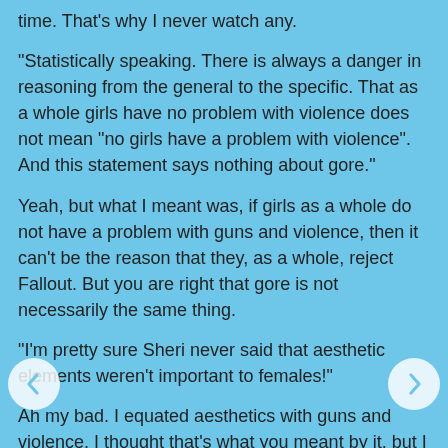time. That's why I never watch any.
"Statistically speaking. There is always a danger in reasoning from the general to the specific. That as a whole girls have no problem with violence does not mean "no girls have a problem with violence". And this statement says nothing about gore."
Yeah, but what I meant was, if girls as a whole do not have a problem with guns and violence, then it can't be the reason that they, as a whole, reject Fallout. But you are right that gore is not necessarily the same thing.
"I'm pretty sure Sheri never said that aesthetic elements weren't important to females!"
Ah my bad. I equated aesthetics with guns and violence. I thought that's what you meant by it, but I guess you were talking about aesthetic elements in general.
"Now I could ask Sheri to rejoin the discussion, but that seems absurd when it's just you and I talking! :)"
She for sure is!! No need to do that, we have a good well...